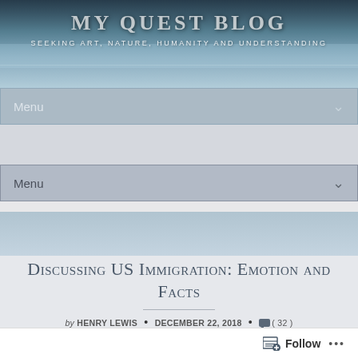MY QUEST BLOG
SEEKING ART, NATURE, HUMANITY AND UNDERSTANDING
[Figure (screenshot): Navigation menu bar with 'Menu' label and dropdown chevron, on a semi-transparent blue background]
[Figure (screenshot): Second navigation menu bar with 'Menu' label and dropdown chevron, on a grey background]
Discussing US Immigration: Emotion and Facts
by HENRY LEWIS • DECEMBER 22, 2018 • (32)
Follow ...